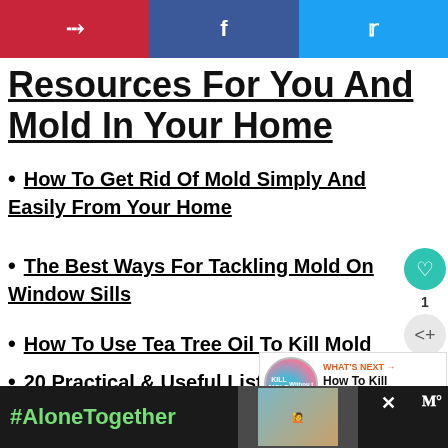Social share bar: Pinterest, Facebook, Twitter
Resources For You And Mold In Your Home
How To Get Rid Of Mold Simply And Easily From Your Home
The Best Ways For Tackling Mold On Window Sills
How To Use Tea Tree Oil To Kill Mold
20 Practical & Useful Lists To Stay Organized
Ultimate Cleaning Checklist
[Figure (other): What's Next widget showing Kill Mold Without thumbnail and text 'How To Kill Mold Withou...']
[Figure (other): Ad bar at bottom: #AloneTogether with photo of man and child, close button, brand logo]